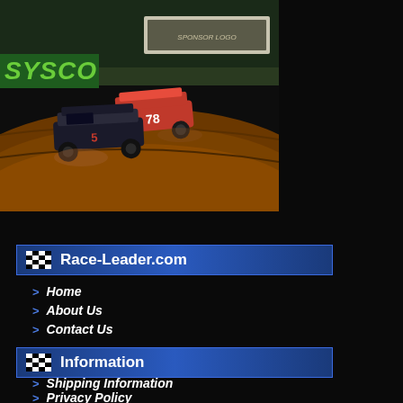[Figure (photo): Dirt track racing photo showing modified race cars on a dirt oval track at night. A Sysco advertising banner visible on the left. A sponsor logo banner visible at top center. Cars racing on reddish-brown dirt surface.]
Race-Leader.com
Home
About Us
Contact Us
Information
Shipping Information
Privacy Policy